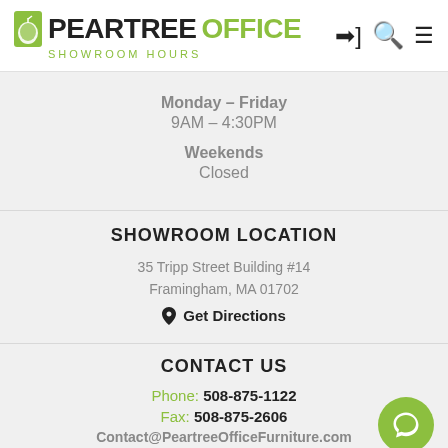PEARTREE OFFICE - SHOWROOM HOURS
Monday - Friday
9AM – 4:30PM
Weekends
Closed
SHOWROOM LOCATION
35 Tripp Street Building #14
Framingham, MA 01702
Get Directions
CONTACT US
Phone: 508-875-1122
Fax: 508-875-2606
Contact@PeartreeOfficeFurniture.com